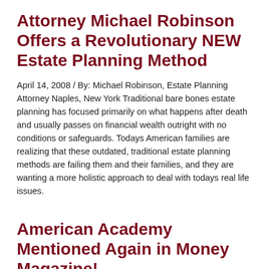Attorney Michael Robinson Offers a Revolutionary NEW Estate Planning Method
April 14, 2008 / By: Michael Robinson, Estate Planning Attorney Naples, New York Traditional bare bones estate planning has focused primarily on what happens after death and usually passes on financial wealth outright with no conditions or safeguards. Todays American families are realizing that these outdated, traditional estate planning methods are failing them and their families, and they are wanting a more holistic approach to deal with todays real life issues.
American Academy Mentioned Again in Money Magazine!
March 18, 2008 / By: Michael Robinson, Estate Planning Attorney Robert Armstrong, President of the American Academy of Estate Planning Attorneys, was interviewed by Money Magazine senior writer Penelope Wang for her article “A Midlife Money Checkup” in the March 2008 Issue.